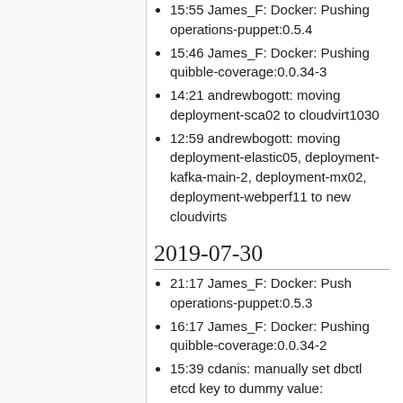15:55 James_F: Docker: Pushing operations-puppet:0.5.4
15:46 James_F: Docker: Pushing quibble-coverage:0.0.34-3
14:21 andrewbogott: moving deployment-sca02 to cloudvirt1030
12:59 andrewbogott: moving deployment-elastic05, deployment-kafka-main-2, deployment-mx02, deployment-webperf11 to new cloudvirts
2019-07-30
21:17 James_F: Docker: Push operations-puppet:0.5.3
16:17 James_F: Docker: Pushing quibble-coverage:0.0.34-2
15:39 cdanis: manually set dbctl etcd key to dummy value: